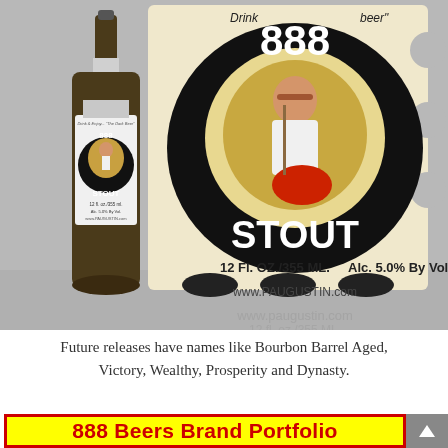[Figure (photo): Photo of an 888 Stout beer bottle on the left and a six-pack carrier box on the right. The bottle has a black label with the number 888 and the word STOUT, featuring an illustration of a woman. The carrier box shows the same label enlarged: '888 STOUT, 12 FL. OZ./355 ML. Alc. 5.0% By Vol.' and 'www.PAUGUSTIN.com'. Both sit on a gray reflective surface.]
Future releases have names like Bourbon Barrel Aged, Victory, Wealthy, Prosperity and Dynasty.
888 Beers Brand Portfolio